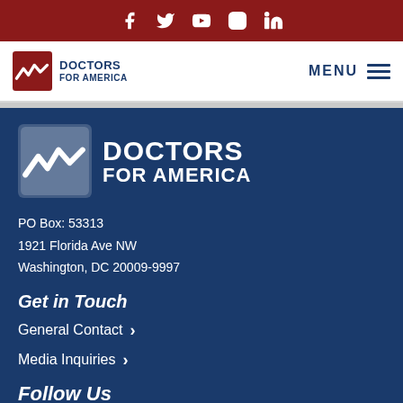Social media icons: Facebook, Twitter, YouTube, Instagram, LinkedIn
[Figure (logo): Doctors for America logo in navigation header with MENU button]
[Figure (logo): Doctors for America white logo on dark blue footer background]
PO Box: 53313
1921 Florida Ave NW
Washington, DC 20009-9997
Get in Touch
General Contact ›
Media Inquiries ›
Follow Us